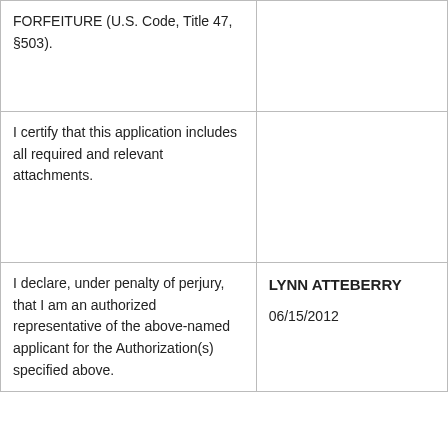| FORFEITURE (U.S. Code, Title 47, §503). |  |
| I certify that this application includes all required and relevant attachments. |  |
| I declare, under penalty of perjury, that I am an authorized representative of the above-named applicant for the Authorization(s) specified above. | LYNN ATTEBERRY
06/15/2012 |